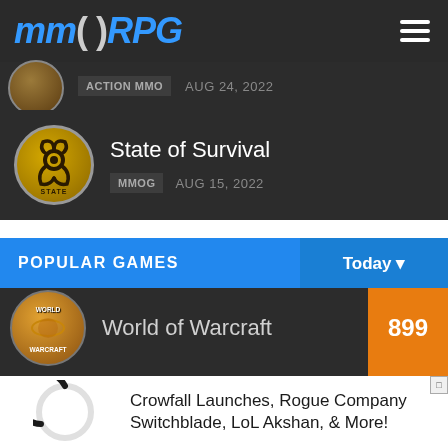MMORPG
ACTION MMO   AUG 24, 2022
State of Survival
MMOG   AUG 15, 2022
POPULAR GAMES   Today
World of Warcraft   899
Crowfall Launches, Rogue Company Switchblade, LoL Akshan, & More!